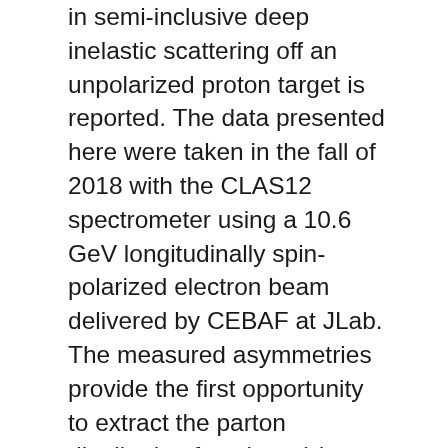in semi-inclusive deep inelastic scattering off an unpolarized proton target is reported. The data presented here were taken in the fall of 2018 with the CLAS12 spectrometer using a 10.6 GeV longitudinally spin-polarized electron beam delivered by CEBAF at JLab. The measured asymmetries provide the first opportunity to extract the parton distribution function e(x), which provides information about the interaction between gluons and quarks, in a collinear framework that offers cleaner access than previous measurements. The asymmetries also constitute the first ever signal sensitive to the helicity-dependent two-pion fragmentation function G_{1}^{⊥}. A clear sign change is observed around the ρ mass that appears in model calculations and is